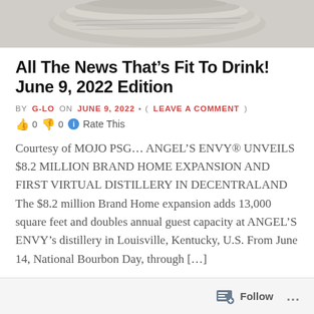[Figure (photo): Partial view of rolled/stacked newspapers or paper money, cropped at top]
All The News That's Fit To Drink! June 9, 2022 Edition
BY G-LO ON JUNE 9, 2022 • ( LEAVE A COMMENT ) 👍 0 👎 0 ℹ Rate This
Courtesy of MOJO PSG… ANGEL'S ENVY® UNVEILS $8.2 MILLION BRAND HOME EXPANSION AND FIRST VIRTUAL DISTILLERY IN DECENTRALAND The $8.2 million Brand Home expansion adds 13,000 square feet and doubles annual guest capacity at ANGEL'S ENVY's distillery in Louisville, Kentucky, U.S. From June 14, National Bourbon Day, through [...]
Follow ...